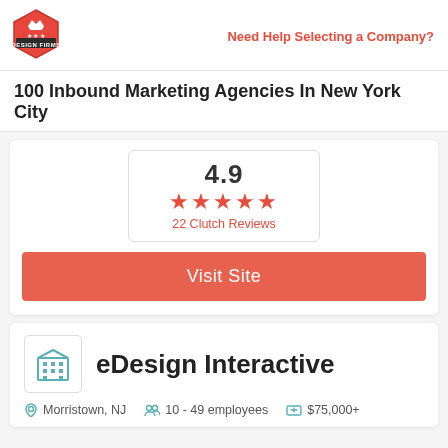[Figure (logo): Top Design Firms hexagonal red logo with crown icon]
Need Help Selecting a Company?
100 Inbound Marketing Agencies In New York City
4.9 (score), 5 red stars, 22 Clutch Reviews
Visit Site
[Figure (logo): eDesign Interactive building icon logo]
eDesign Interactive
Morristown, NJ   10 - 49 employees   $75,000+